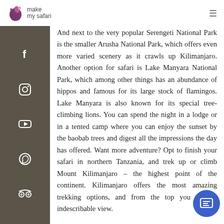make my safari logo with navigation
birds. And next to the very popular Serengeti National Park is the smaller Arusha National Park, which offers even more varied scenery as it crawls up Kilimanjaro. Another option for safari is Lake Manyara National Park, which among other things has an abundance of hippos and famous for its large stock of flamingos. Lake Manyara is also known for its special tree-climbing lions. You can spend the night in a lodge or in a tented camp where you can enjoy the sunset by the baobab trees and digest all the impressions the day has offered. Want more adventure? Opt to finish your safari in northern Tanzania, and trek up or climb Mount Kilimanjaro – the highest point of the continent. Kilimanjaro offers the most amazing trekking options, and from the top you get an indescribable view.